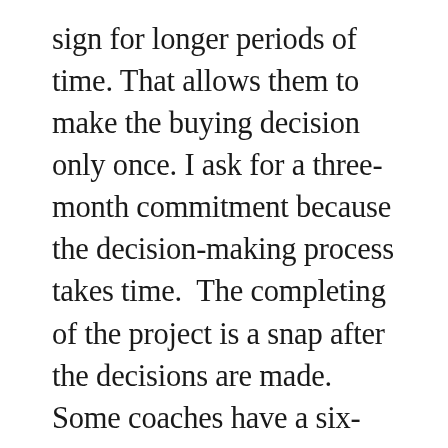sign for longer periods of time. That allows them to make the buying decision only once. I ask for a three-month commitment because the decision-making process takes time.  The completing of the project is a snap after the decisions are made.  Some coaches have a six-month or twelve-month commitment.  How much time do you need to get the results you promise?  The coaching process is about change and that simply takes time. If you are settling for a three month commitment, look for other offerings you can make to up-sell that client to a longer coaching package. Keep finding ways to serve those loyal customers